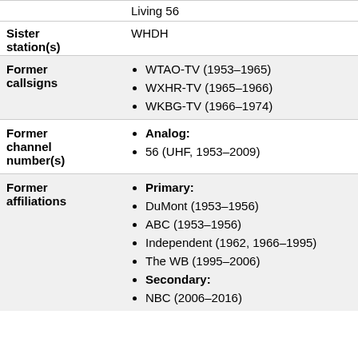|  | Living 56 |
| Sister station(s) | WHDH |
| Former callsigns | WTAO-TV (1953–1965)
WXHR-TV (1965–1966)
WKBG-TV (1966–1974) |
| Former channel number(s) | Analog:
56 (UHF, 1953–2009) |
| Former affiliations | Primary:
DuMont (1953–1956)
ABC (1953–1956)
Independent (1962, 1966–1995)
The WB (1995–2006)
Secondary:
NBC (2006–2016) |